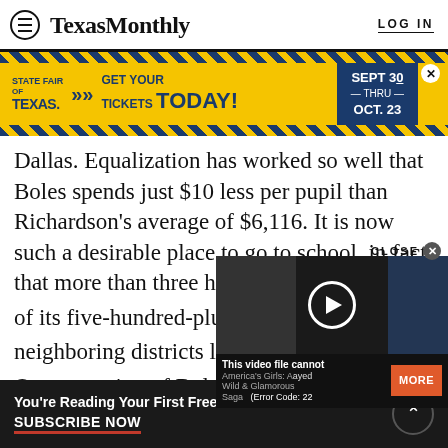Texas Monthly  LOG IN
[Figure (screenshot): State Fair of Texas advertisement banner: yellow background with diagonal stripe border, text reading 'STATE FAIR OF TEXAS >> GET YOUR TICKETS TODAY!' with date panel 'SEPT 30 — THRU — OCT. 23' in navy blue]
Dallas. Equalization has worked so well that Boles spends just $10 less per pupil than Richardson's average of $6,116. It is now such a desirable place to go to school, in fact, that more than three hundred of its five-hundred-plus s[tudents come from] neighboring districts lik[e...] One attraction of Boles is [its] small classes—an average [of students per] teacher. Another, perhap[s, is that some white
[Figure (screenshot): Video overlay popup with 'CLOSE X' button, video thumbnail showing blurred image with play button, error message 'This video file cannot [be played] (Error Code: 22...)', title 'America's Girls: A Wild & Glamorous Saga', and orange MORE button]
You're Reading Your First Free Article  SUBSCRIBE NOW